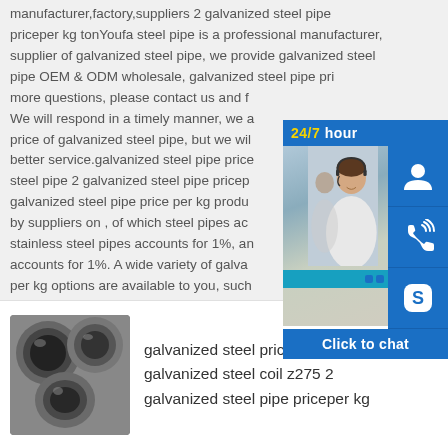manufacturer,factory,suppliers 2 galvanized steel pipe priceper kg tonYoufa steel pipe is a professional manufacturer, supplier of galvanized steel pipe, we provide galvanized steel pipe OEM & ODM wholesale, galvanized steel pipe pri... more questions, please contact us and f... We will respond in a timely manner, we a... price of galvanized steel pipe, but we wil... better service.galvanized steel pipe price... steel pipe 2 galvanized steel pipe pricep... galvanized steel pipe price per kg produ... by suppliers on , of which steel pipes ac... stainless steel pipes accounts for 1%, an... accounts for 1%. A wide variety of galva... per kg options are available to you, such... and cold rolled.
[Figure (screenshot): A 24/7 hour live chat widget showing a customer service representative photo, icons for chat, phone (Skype-style), and a 'Click to chat' button in blue. Icons are on a blue background.]
[Figure (photo): Photo of galvanized steel pipes bundled together, viewed from the end showing circular cross-sections.]
galvanized steel price per ton galvanized steel coil z275 2 galvanized steel pipe priceper kg